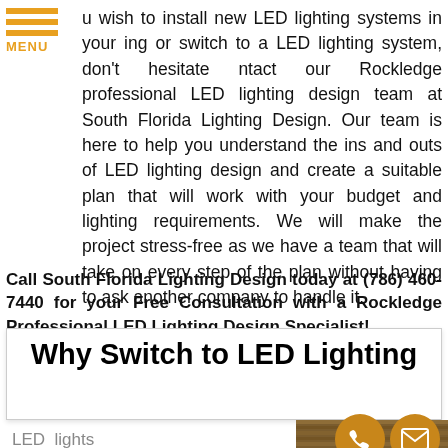[Figure (logo): Orange hamburger menu icon with three horizontal orange lines and MENU text in orange below]
u wish to install new LED lighting systems in your ing or switch to a LED lighting system, don't hesitate ntact our Rockledge professional LED lighting design team at South Florida Lighting Design. Our team is here to help you understand the ins and outs of LED lighting design and create a suitable plan that will work with your budget and lighting requirements. We will make the project stress-free as we have a team that will take on every step of the plan without having to ask another company to handle it.
Call South Florida Lighting Design today at (786) 460-7440 for your Free Consultation with a Rockledge Professional LED Lighting Design Specialist!
Why Switch to LED Lighting
LED lights are
[Figure (photo): Photo of what appears to be wooden deck or flooring with LED lighting]
[Figure (illustration): Orange circle icons for phone and email contact buttons]